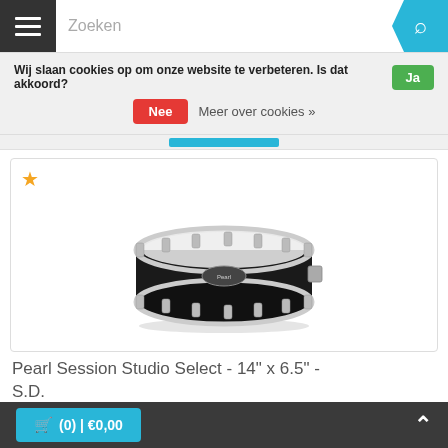Zoeken
Wij slaan cookies op om onze website te verbeteren. Is dat akkoord? Ja
Nee  Meer over cookies »
[Figure (photo): Black Pearl Session Studio Select snare drum, 14" x 6.5", viewed from slightly above and to the side, with chrome hardware and lugs]
Pearl Session Studio Select - 14" x 6.5" - S.D.
(0) | €0,00